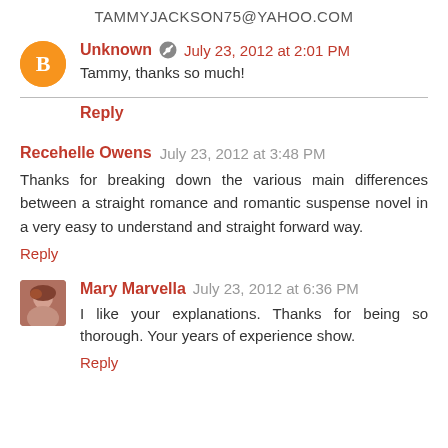TAMMYJACKSON75@YAHOO.COM
Unknown  July 23, 2012 at 2:01 PM
Tammy, thanks so much!
Reply
Recehelle Owens  July 23, 2012 at 3:48 PM
Thanks for breaking down the various main differences between a straight romance and romantic suspense novel in a very easy to understand and straight forward way.
Reply
Mary Marvella  July 23, 2012 at 6:36 PM
I like your explanations. Thanks for being so thorough. Your years of experience show.
Reply